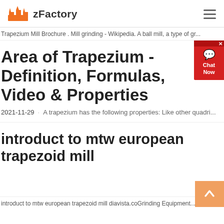zFactory
Trapezium Mill Brochure . Mill grinding - Wikipedia. A ball mill, a type of gr...
Area of Trapezium - Definition, Formulas, Video & Properties
2021-11-29 · A trapezium has the following properties: Like other quadri...
introduct to mtw european trapezoid mill
introduct to mtw european trapezoid mill diavista.coGrinding Equipment...